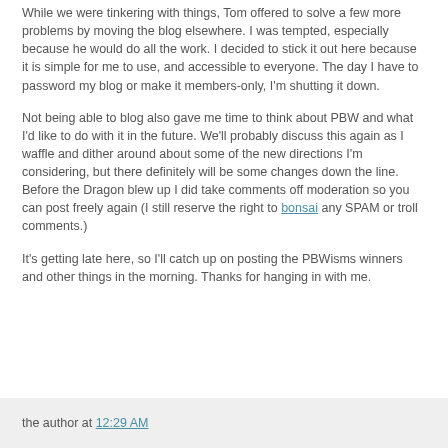While we were tinkering with things, Tom offered to solve a few more problems by moving the blog elsewhere. I was tempted, especially because he would do all the work. I decided to stick it out here because it is simple for me to use, and accessible to everyone. The day I have to password my blog or make it members-only, I'm shutting it down.
Not being able to blog also gave me time to think about PBW and what I'd like to do with it in the future. We'll probably discuss this again as I waffle and dither around about some of the new directions I'm considering, but there definitely will be some changes down the line. Before the Dragon blew up I did take comments off moderation so you can post freely again (I still reserve the right to bonsai any SPAM or troll comments.)
It's getting late here, so I'll catch up on posting the PBWisms winners and other things in the morning. Thanks for hanging in with me.
the author at 12:29 AM